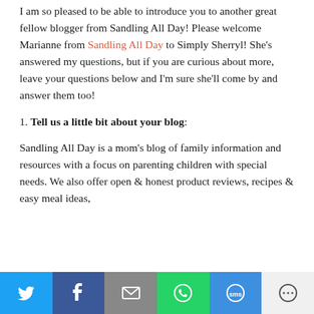I am so pleased to be able to introduce you to another great fellow blogger from Sandling All Day! Please welcome Marianne from Sandling All Day to Simply Sherryl! She's answered my questions, but if you are curious about more, leave your questions below and I'm sure she'll come by and answer them too!
1. Tell us a little bit about your blog:
Sandling All Day is a mom's blog of family information and resources with a focus on parenting children with special needs. We also offer open & honest product reviews, recipes & easy meal ideas,
[Figure (infographic): Social sharing bar with buttons for Twitter, Facebook, Email, WhatsApp, SMS, and More]